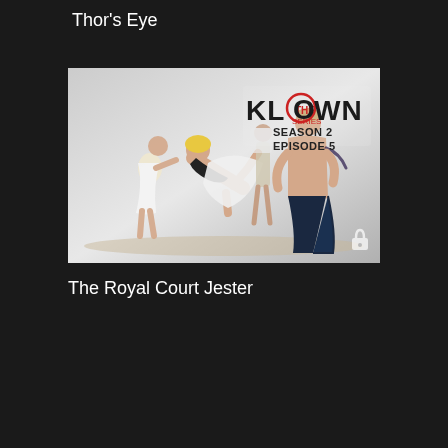Thor's Eye
[Figure (photo): Klown The Series Season 2 Episode 5 thumbnail showing people on a beach in playful poses, with a lock icon in the bottom right corner]
The Royal Court Jester